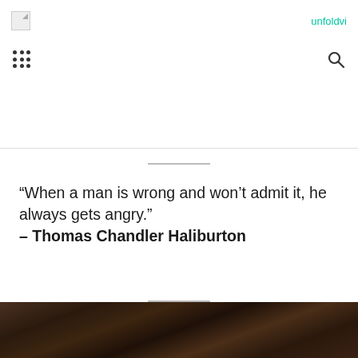unfoldvi
[Figure (screenshot): App navigation bar with grid/dots icon on left and search magnifier icon on right]
“When a man is wrong and won’t admit it, he always gets angry.” – Thomas Chandler Haliburton
[Figure (photo): Dark brown soil and plant debris photo strip at bottom of page]